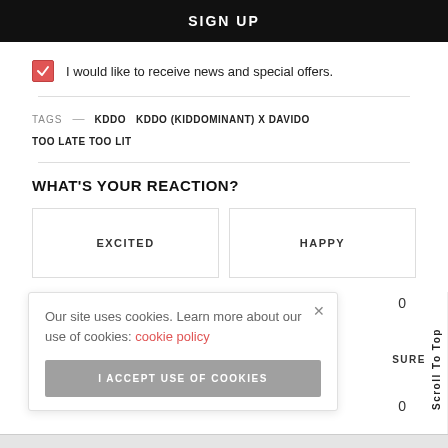SIGN UP
I would like to receive news and special offers.
TAGS — KDDO  KDDO (KIDDOMINANT) X DAVIDO  TOO LATE TOO LIT
WHAT'S YOUR REACTION?
EXCITED
HAPPY
Our site uses cookies. Learn more about our use of cookies: cookie policy
I ACCEPT USE OF COOKIES
Scroll To Top